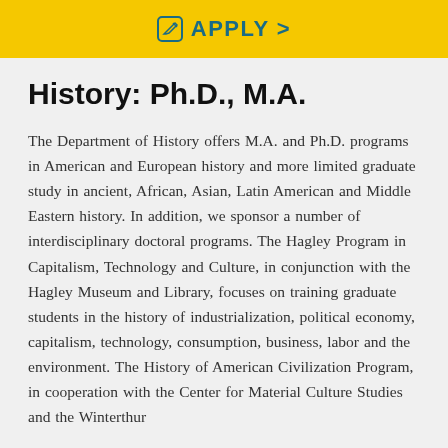[Figure (other): Yellow apply button bar with pencil/edit icon and text 'APPLY >' in teal color]
History: Ph.D., M.A.
The Department of History offers M.A. and Ph.D. programs in American and European history and more limited graduate study in ancient, African, Asian, Latin American and Middle Eastern history. In addition, we sponsor a number of interdisciplinary doctoral programs. The Hagley Program in Capitalism, Technology and Culture, in conjunction with the Hagley Museum and Library, focuses on training graduate students in the history of industrialization, political economy, capitalism, technology, consumption, business, labor and the environment. The History of American Civilization Program, in cooperation with the Center for Material Culture Studies and the Winterthur